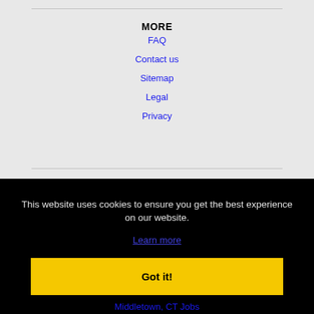MORE
FAQ
Contact us
Sitemap
Legal
Privacy
This website uses cookies to ensure you get the best experience on our website.
Learn more
Got it!
Middletown, CT Jobs